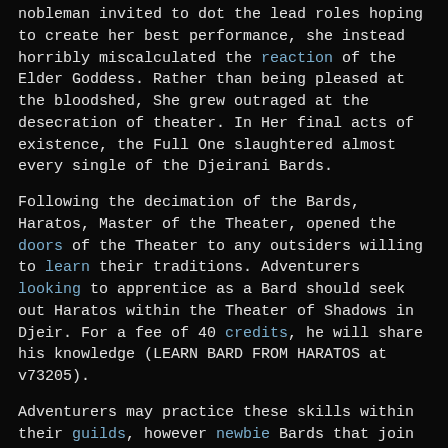nobleman invited to dot the lead roles hoping to create her best performance, she instead horribly miscalculated the reaction of the Elder Goddess. Rather than being pleased at the bloodshed, She grew outraged at the desecration of theater. In Her final acts of existence, the Full One slaughtered almost every single of the Djeirani Bards.
Following the decimation of the Bards, Haratos, Master of the Theater, opened the doors of the Theater to any outsiders willing to learn their traditions. Adventurers looking to apprentice as a Bard should seek out Haratos within the Theater of Shadows in Djeir. For a fee of 40 credits, he will share his knowledge (LEARN BARD FROM HARATOS at v73205).
Adventurers may practice these skills within their guilds, however newbie Bards that join through the introduction can not join a guild until they have met the multiclassing prerequisites of being Virtuoso in Performance, Songcalling, and Weaving, or Transcendent in two of them.